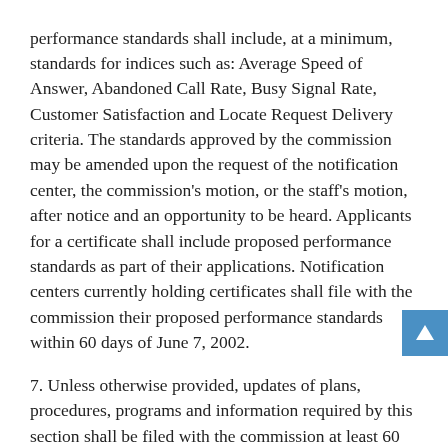performance standards shall include, at a minimum, standards for indices such as: Average Speed of Answer, Abandoned Call Rate, Busy Signal Rate, Customer Satisfaction and Locate Request Delivery criteria. The standards approved by the commission may be amended upon the request of the notification center, the commission's motion, or the staff's motion, after notice and an opportunity to be heard. Applicants for a certificate shall include proposed performance standards as part of their applications. Notification centers currently holding certificates shall file with the commission their proposed performance standards within 60 days of June 7, 2002.
7. Unless otherwise provided, updates of plans, procedures, programs and information required by this section shall be filed with the commission at least 60 days prior to the implementation of any substantive change to such plans, procedures, programs and information.